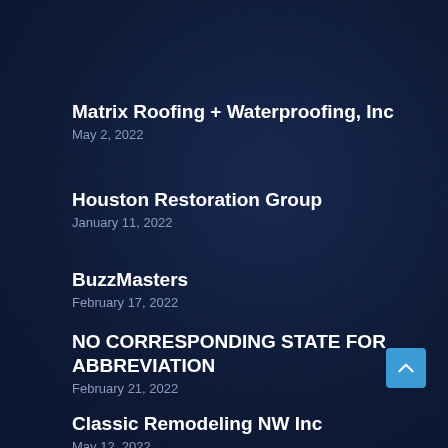Matrix Roofing + Waterproofing, Inc
May 2, 2022
Houston Restoration Group
January 11, 2022
BuzzMasters
February 17, 2022
NO CORRESPONDING STATE FOR ABBREVIATION
February 21, 2022
Classic Remodeling NW Inc
May 12, 2022